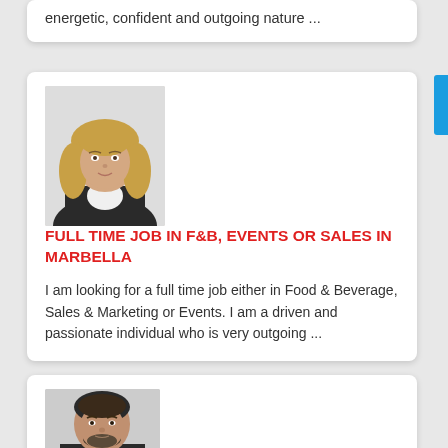energetic, confident and outgoing nature ...
[Figure (photo): Profile photo of a young woman with blonde hair wearing a dark blazer]
FULL TIME JOB IN F&B, EVENTS OR SALES IN MARBELLA
I am looking for a full time job either in Food & Beverage, Sales & Marketing or Events. I am a driven and passionate individual who is very outgoing ...
[Figure (photo): Profile photo of a man with dark hair and beard wearing a dark jacket]